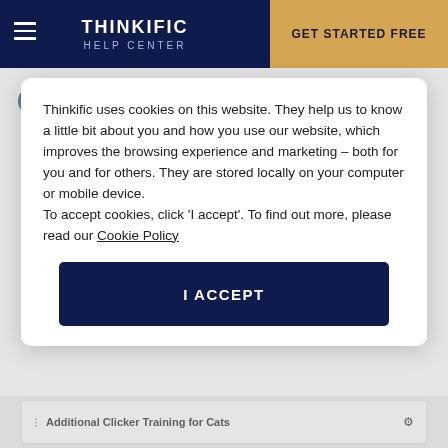THINKIFIC HELP CENTER | GET STARTED FREE
1. From the admin dashboard navigate to your course bundles. Course bundles are in Memberships & Bundles in the Courses tab under Manage Learning Content.
Thinkific uses cookies on this website. They help us to know a little bit about you and how you use our website, which improves the browsing experience and marketing – both for you and for others. They are stored locally on your computer or mobile device.
To accept cookies, click 'I accept'. To find out more, please read our Cookie Policy
I ACCEPT
Additional Clicker Training for Cats